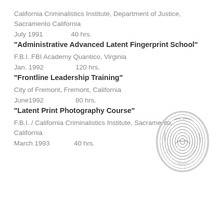California Criminalistics Institute, Department of Justice, Sacramento California
July 1991                    40 hrs.
"Administrative Advanced Latent Fingerprint School"
F.B.I. FBI Academy Quantico, Virginia
Jan. 1992                    120 hrs.
"Frontline Leadership Training"
City of Fremont, Fremont, California
June1992                    80 hrs.
[Figure (illustration): Fingerprint image - oval shaped fingerprint with detailed ridge patterns]
"Latent Print Photography Course"
F.B.I. / California Criminalistics Institute, Sacramento, California
March 1993                    40 hrs.